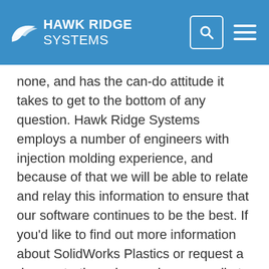HAWK RIDGE SYSTEMS
none, and has the can-do attitude it takes to get to the bottom of any question. Hawk Ridge Systems employs a number of engineers with injection molding experience, and because of that we will be able to relate and relay this information to ensure that our software continues to be the best. If you’d like to find out more information about SolidWorks Plastics or request a demonstration, please give us a call at 877.266.4469 in the US or 866-587-6803 in Canada, or email us at info@hawkridgesys.com.